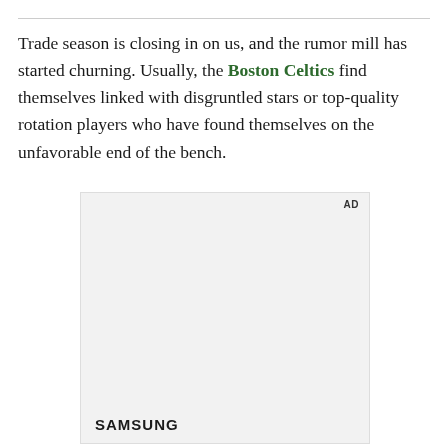Trade season is closing in on us, and the rumor mill has started churning. Usually, the Boston Celtics find themselves linked with disgruntled stars or top-quality rotation players who have found themselves on the unfavorable end of the bench.
[Figure (other): Advertisement placeholder with light gray background and Samsung logo at the bottom left, AD label at top right.]